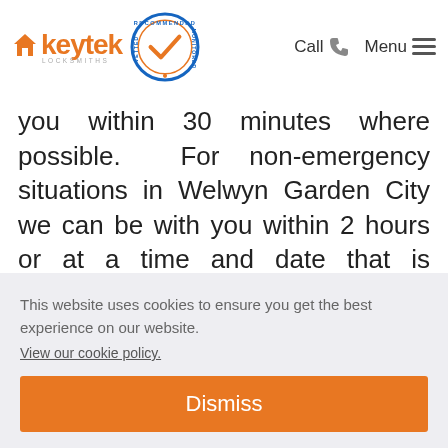Keytek Locksmiths — navigation header with logo, recommended badge, Call and Menu
you within 30 minutes where possible. For non-emergency situations in Welwyn Garden City we can be with you within 2 hours or at a time and date that is convenient to you.
Are your parts guaranteed?
ne. of
This website uses cookies to ensure you get the best experience on our website.
View our cookie policy.
Dismiss